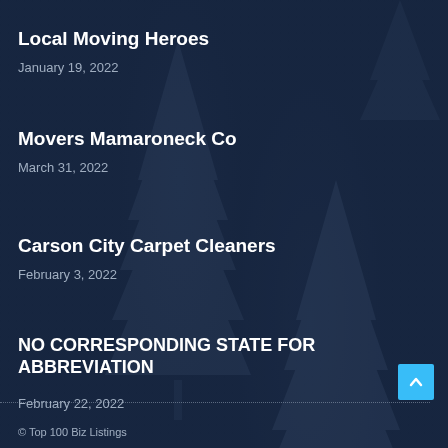Local Moving Heroes
January 19, 2022
Movers Mamaroneck Co
March 31, 2022
Carson City Carpet Cleaners
February 3, 2022
NO CORRESPONDING STATE FOR ABBREVIATION
February 22, 2022
© Top 100 Biz Listings